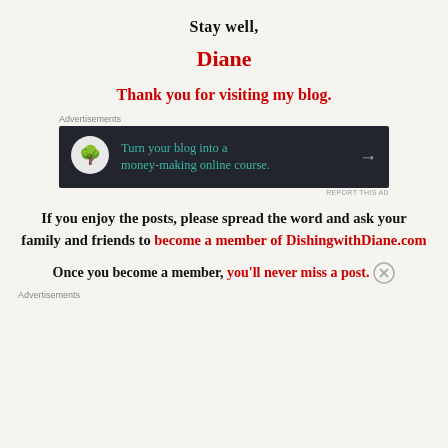Stay well,
Diane
Thank you for visiting my blog.
[Figure (other): Advertisement banner: dark background with bonsai tree logo and text 'Turn your blog into a money-making online course.' with arrow]
If you enjoy the posts, please spread the word and ask your family and friends to become a member of DishingwithDiane.com
Once you become a member, you'll never miss a post.
Advertisements